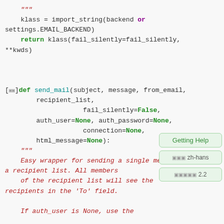Code block showing Python function definitions: import_string, send_mail with parameters and docstring
Getting Help sidebar with zh-hans and 2.2 options